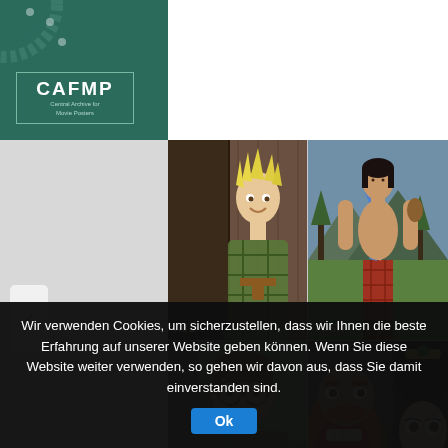[Figure (logo): CAFMP - Central Archive for Movie Posters logo on dark teal background with film reel decoration]
[Figure (photo): Four animated character images from Brave (Pixar): top-left shows a young boy character with spiky hair in plaid outfit labeled 'ALL'; top-right shows a tall dark-haired warrior in tartan labeled 'TOSH'; bottom-left shows a stout character with glasses in green; bottom-right shows a red-bearded king and a dark-haired princess with crown]
Wir verwenden Cookies, um sicherzustellen, dass wir Ihnen die beste Erfahrung auf unserer Website geben können. Wenn Sie diese Website weiter verwenden, so gehen wir davon aus, dass Sie damit einverstanden sind. Ok